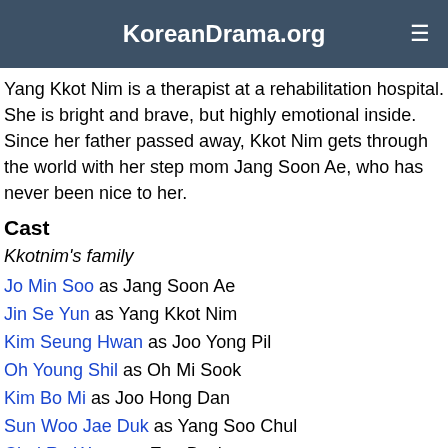KoreanDrama.org
Yang Kkot Nim is a therapist at a rehabilitation hospital. She is bright and brave, but highly emotional inside. Since her father passed away, Kkot Nim gets through the world with her step mom Jang Soon Ae, who has never been nice to her.
Cast
Kkotnim's family
Jo Min Soo as Jang Soon Ae
Jin Se Yun as Yang Kkot Nim
Kim Seung Hwan as Joo Yong Pil
Oh Young Shil as Oh Mi Sook
Kim Bo Mi as Joo Hong Dan
Sun Woo Jae Duk as Yang Soo Chul
Choi Ro Woon as Eun Byul
Sang Hyuk's family